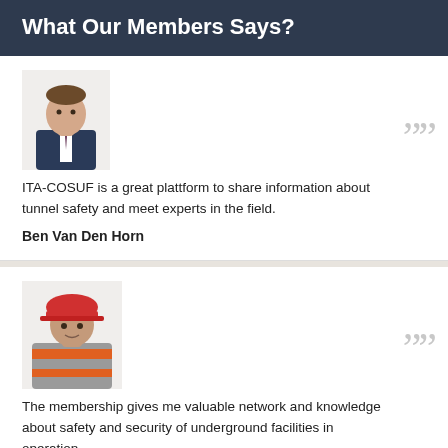What Our Members Says?
[Figure (photo): Headshot of a man in a suit with a tie]
ITA-COSUF is a great plattform to share information about tunnel safety and meet experts in the field.
Ben Van Den Horn
[Figure (photo): Photo of a man wearing a red hard hat and safety jacket]
The membership gives me valuable network and knowledge about safety and security of underground facilities in operation.
Arild Petter Sovik
Flyers and templates